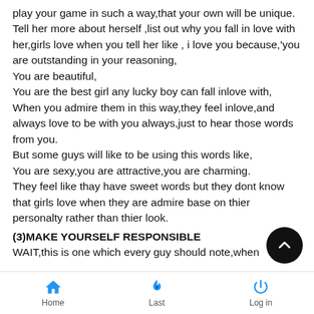play your game in such a way,that your own will be unique.
Tell her more about herself ,list out why you fall in love with her,girls love when you tell her like , i love you because,'you are outstanding in your reasoning,
You are beautiful,
You are the best girl any lucky boy can fall inlove with,
When you admire them in this way,they feel inlove,and always love to be with you always,just to hear those words from you.
But some guys will like to be using this words like,
You are sexy,you are attractive,you are charming.
They feel like thay have sweet words but they dont know that girls love when they are admire base on thier personalty rather than thier look.
(3)MAKE YOURSELF RESPONSIBLE
WAIT,this is one which every guy should note,when
Home  Last  Log in